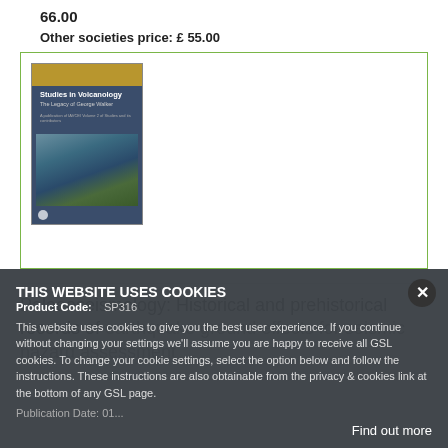66.00
Other societies price: £ 55.00
[Figure (photo): Book cover for Studies in Volcanology: The Legacy of George Walker, showing a dark blue cover with a golden top bar, title text, and a landscape photograph of volcanic terrain with a lake or water body]
Palaeoseismology: Historical and prehistorical records of earthquake ground effects for seismic hazard assessment
Product Code:    SP316
THIS WEBSITE USES COOKIES
This website uses cookies to give you the best user experience. If you continue without changing your settings we'll assume you are happy to receive all GSL cookies. To change your cookie settings, select the option below and follow the instructions. These instructions are also obtainable from the privacy & cookies link at the bottom of any GSL page.
Find out more